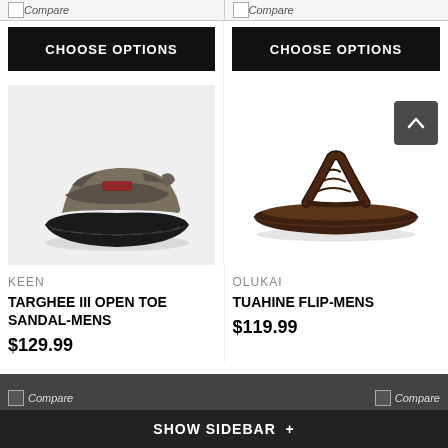[Figure (screenshot): Top bar with Compare checkboxes and two CHOOSE OPTIONS buttons side by side]
[Figure (photo): Keen Targhee III Open Toe Sandal - Mens, shown on light grey background, side profile]
[Figure (photo): Olukai Tuahine Flip-Mens, dark brown flip flop, side profile on white background]
KEEN
TARGHEE III OPEN TOE SANDAL-MENS
$129.99
OLUKAI
TUAHINE FLIP-MENS
$119.99
SHOW SIDEBAR +